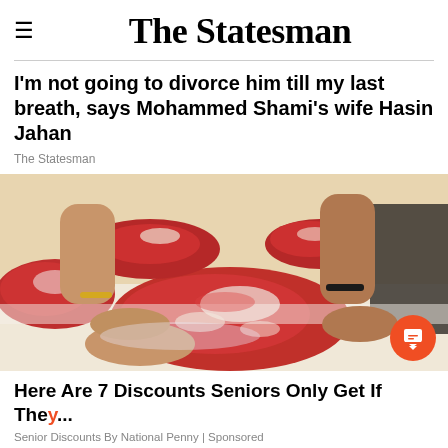The Statesman
I'm not going to divorce him till my last breath, says Mohammed Shami's wife Hasin Jahan
The Statesman
[Figure (photo): Hands holding a large cut of raw red meat at a butcher's counter, with other pieces of meat visible in the background]
Here Are 7 Discounts Seniors Only Get If The...
Senior Discounts By National Penny | Sponsored